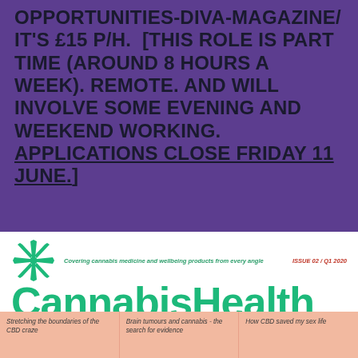OPPORTUNITIES-DIVA-MAGAZINE/ IT'S £15 P/H. [THIS ROLE IS PART TIME (AROUND 8 HOURS A WEEK). REMOTE. AND WILL INVOLVE SOME EVENING AND WEEKEND WORKING. APPLICATIONS CLOSE FRIDAY 11 JUNE.]
[Figure (logo): Cannabis Health magazine cover/header: green snowflake/asterisk logo icon, tagline 'Covering cannabis medicine and wellbeing products from every angle', issue info 'ISSUE 02 / Q1 2020', large green bold logotype 'CannabisHealth', and a salmon-coloured bottom strip with three article teasers.]